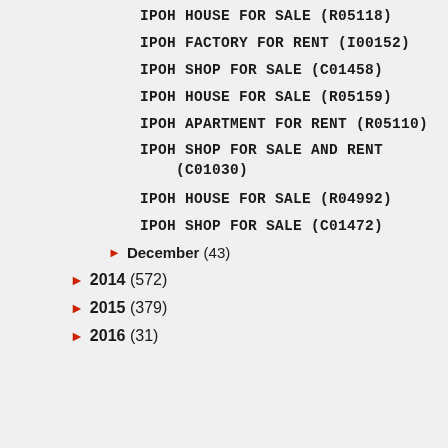IPOH HOUSE FOR SALE (R05118)
IPOH FACTORY FOR RENT (I00152)
IPOH SHOP FOR SALE (C01458)
IPOH HOUSE FOR SALE (R05159)
IPOH APARTMENT FOR RENT (R05110)
IPOH SHOP FOR SALE AND RENT (C01030)
IPOH HOUSE FOR SALE (R04992)
IPOH SHOP FOR SALE (C01472)
▶ December (43)
▶ 2014 (572)
▶ 2015 (379)
▶ 2016 (31)